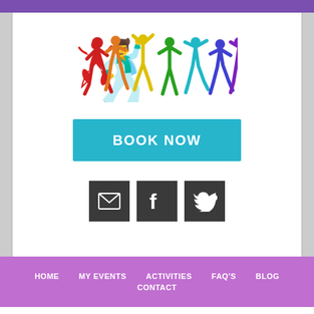[Figure (illustration): Colorful silhouettes of jumping/dancing people in red, orange, yellow, green, cyan, blue, and purple]
[Figure (other): Teal/cyan 'BOOK NOW' button]
[Figure (other): Three dark square social media icons: email (envelope), Facebook (f), Twitter (bird)]
HOME   MY EVENTS   ACTIVITIES   FAQ'S   BLOG
CONTACT